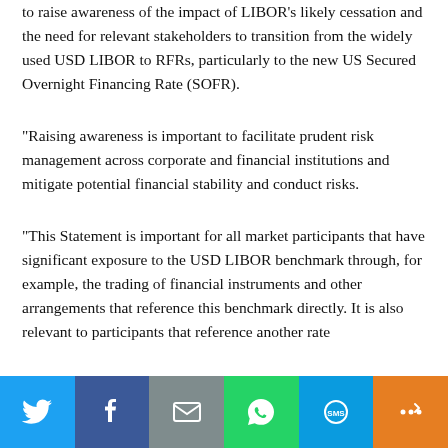to raise awareness of the impact of LIBOR's likely cessation and the need for relevant stakeholders to transition from the widely used USD LIBOR to RFRs, particularly to the new US Secured Overnight Financing Rate (SOFR).
“Raising awareness is important to facilitate prudent risk management across corporate and financial institutions and mitigate potential financial stability and conduct risks.
“This Statement is important for all market participants that have significant exposure to the USD LIBOR benchmark through, for example, the trading of financial instruments and other arrangements that reference this benchmark directly. It is also relevant to participants that reference another rate
[Figure (infographic): Social sharing bar with six buttons: Twitter (blue), Facebook (dark blue), Email (gray), WhatsApp (green), SMS (light blue), More/share (orange)]